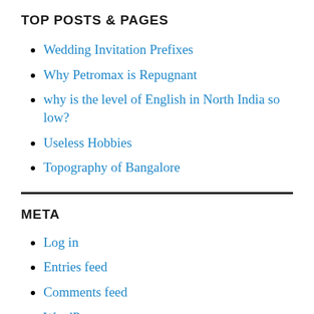TOP POSTS & PAGES
Wedding Invitation Prefixes
Why Petromax is Repugnant
why is the level of English in North India so low?
Useless Hobbies
Topography of Bangalore
META
Log in
Entries feed
Comments feed
WordPress.org